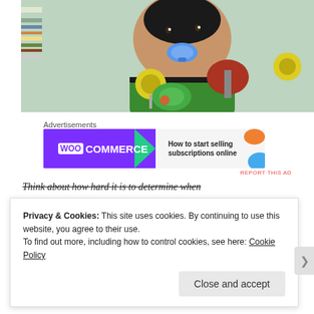[Figure (photo): Baby with blue pacifier in mouth, wearing green shirt, sitting in a colorful baby bouncer/activity seat with yellow and gray toys]
Advertisements
[Figure (screenshot): WooCommerce advertisement banner: 'How to start selling subscriptions online']
REPORT THIS AD
Think about how hard it is to determine when
Privacy & Cookies: This site uses cookies. By continuing to use this website, you agree to their use.
To find out more, including how to control cookies, see here: Cookie Policy
Close and accept